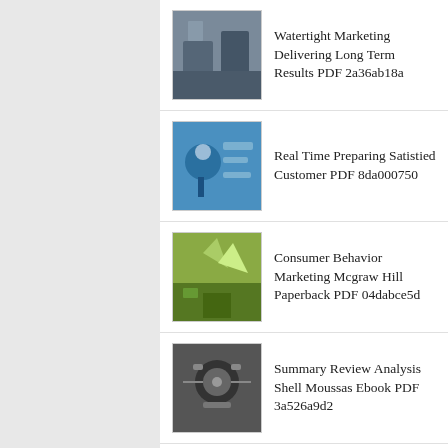Watertight Marketing Delivering Long Term Results PDF 2a36ab18a
Real Time Preparing Satistied Customer PDF 8da000750
Consumer Behavior Marketing Mcgraw Hill Paperback PDF 04dabce5d
Summary Review Analysis Shell Moussas Ebook PDF 3a526a9d2
Dynamic Brands Creating Competitive Advantage PDF 8c40034f6
Archives
August 2022 (35)